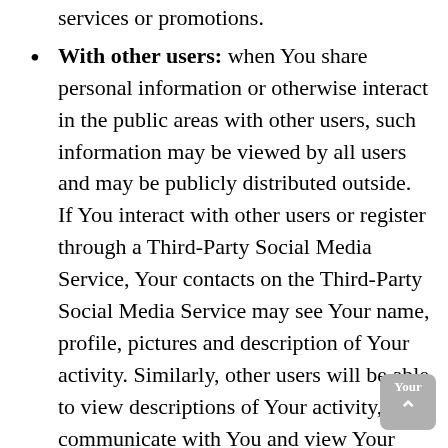services or promotions.
With other users: when You share personal information or otherwise interact in the public areas with other users, such information may be viewed by all users and may be publicly distributed outside. If You interact with other users or register through a Third-Party Social Media Service, Your contacts on the Third-Party Social Media Service may see Your name, profile, pictures and description of Your activity. Similarly, other users will be able to view descriptions of Your activity, communicate with You and view Your profile.
With Your consent: We may disclose Your personal information for any other purpose with Your consent.